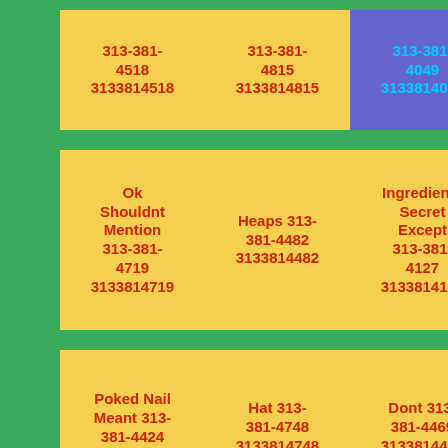313-381-4518
3133814518
313-381-4815
3133814815
313-381-4049
3133814049
Ok Shouldnt Mention 313-381-4719
3133814719
Heaps 313-381-4482
3133814482
Ingredients Secret Except 313-381-4127
3133814127
Poked Nail Meant 313-381-4424
3133814424
Hat 313-381-4748
3133814748
Dont 313-381-4469
3133814469
Thickset Halloween 313-381-4570
3133814570
Relatives 313-381-4122
3133814122
Scruffs Many Twanging 313-381-4634
3133814634